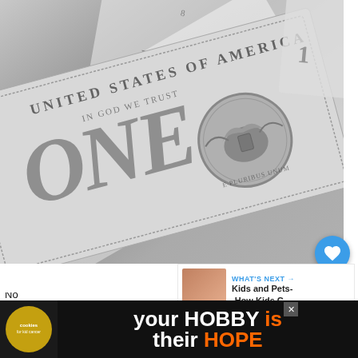[Figure (photo): Close-up photograph of US dollar bills (one dollar bills) in grayscale, showing 'ONE', eagle seal, 'IN GOD WE TRUST', 'UNITED STATES OF AMERICA' text on the bills]
Allowance Web-sites and Apps
No... there are several... you...
[Figure (infographic): WHAT'S NEXT arrow label with thumbnail image and text: Kids and Pets--How Kids C...]
[Figure (photo): Advertisement banner: 'your HOBBY is their HOPE' with cookies for kid cancer logo]